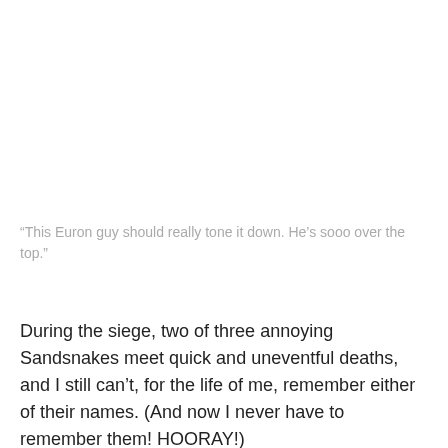“This Euron guy should really tone it down. He’s sooo over the top.”
During the siege, two of three annoying Sandsnakes meet quick and uneventful deaths, and I still can’t, for the life of me, remember either of their names. (And now I never have to remember them! HOORAY!)